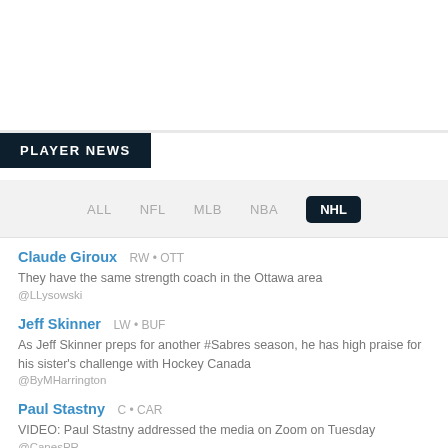PLAYER NEWS
ALL  NFL  MLB  NBA  NHL
Claude Giroux  RW • OTT
They have the same strength coach in the Ottawa area
@LLysowski
Jeff Skinner  LW • BUF
As Jeff Skinner preps for another #Sabres season, he has high praise for his sister's challenge with Hockey Canada
@ByMHarrington
Paul Stastny  C • CAR
VIDEO: Paul Stastny addressed the media on Zoom on Tuesday
@CanesPR
Paul Stastny  C • CAR
"It's the chance to There's a good mix of younger players coming into their own, veterans and a coach that understands how t